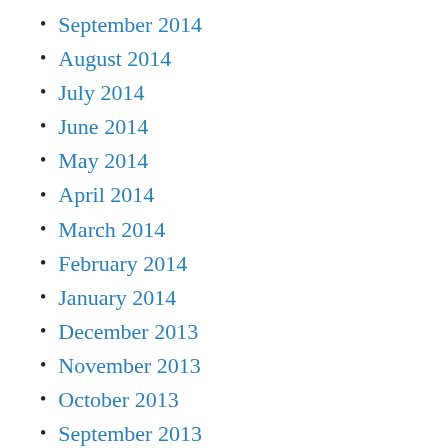September 2014
August 2014
July 2014
June 2014
May 2014
April 2014
March 2014
February 2014
January 2014
December 2013
November 2013
October 2013
September 2013
August 2013
July 2013
June 2013